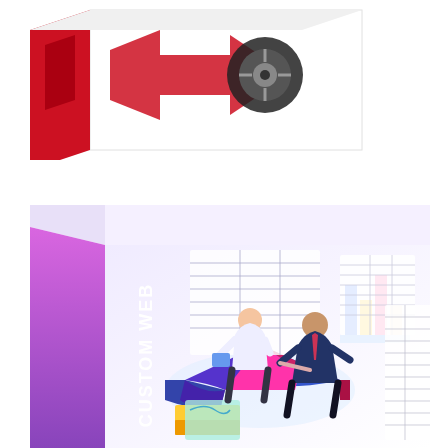[Figure (illustration): A 3D software box with a red side panel featuring a black diagonal arrow and tire/wheel icon on a white background. Partial view, cropped at top.]
[Figure (illustration): A 3D software box with a purple/pink gradient side panel showing the text 'CUSTOM WEB' (rotated vertically). The front panel shows an isometric business scene with two businessmen, a large pie chart, bar charts, spreadsheet/table data displays, and a world map, representing data analytics or custom web software product.]